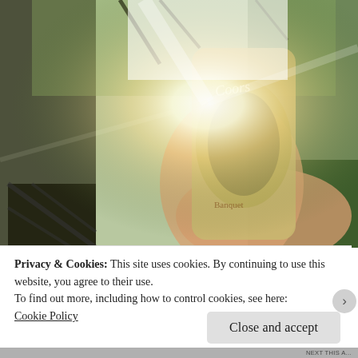[Figure (photo): A hand holding a beer can (appears to be Coors or similar brand) against a bright sunlit outdoor background with trees and lattice fencing. Strong lens flare from sunlight.]
Privacy & Cookies: This site uses cookies. By continuing to use this website, you agree to their use.
To find out more, including how to control cookies, see here:
Cookie Policy
Close and accept
NEXT THIS A...